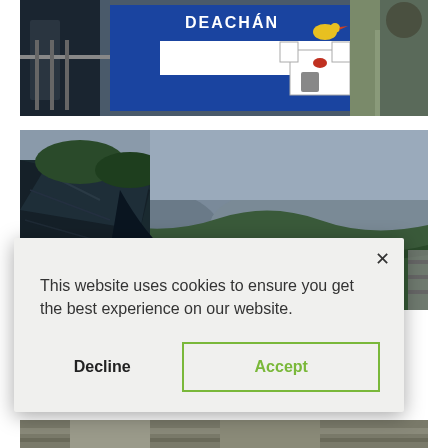[Figure (photo): Person holding a blue and white Galway county flag (with yellow bird and castle crest) on a balcony or viewing platform, text DEACHAN visible on flag]
[Figure (photo): Scenic mountain landscape with deep valley, rocky cliffs, and blue-green forested hills in the background (Blue Mountains style)]
This website uses cookies to ensure you get the best experience on our website.
Decline
Accept
[Figure (photo): Partial bottom photo visible below the cookie modal, showing a paved area or landscape]